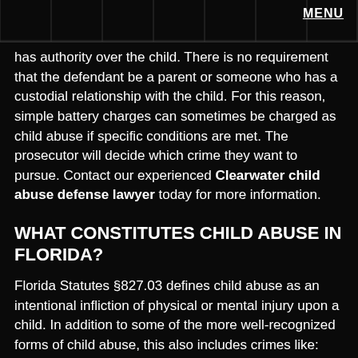MENU
has authority over the child. There is no requirement that the defendant be a parent or someone who has a custodial relationship with the child. For this reason, simple battery charges can sometimes be charged as child abuse if specific conditions are met. The prosecutor will decide which crime they want to pursue. Contact our experienced Clearwater child abuse defense lawyer today for more information.
WHAT CONSTITUTES CHILD ABUSE IN FLORIDA?
Florida Statutes §827.03 defines child abuse as an intentional infliction of physical or mental injury upon a child. In addition to some of the more well-recognized forms of child abuse, this also includes crimes like: